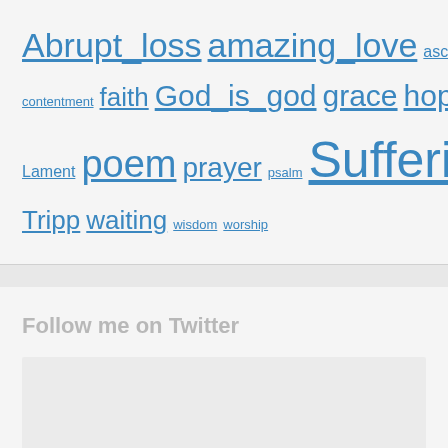[Figure (infographic): A tag cloud with blue hyperlinked words of varying sizes representing blog/website tags: Abrupt_loss, amazing_love, ascent, blessed, contentment, faith, God_is_god, grace, hope, Lament, poem, prayer, psalm, Suffering, Tripp, waiting, wisdom, worship]
Follow me on Twitter